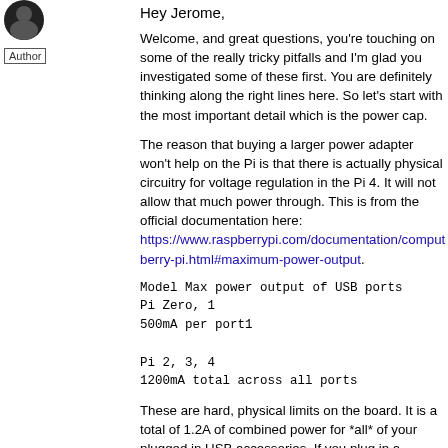[Figure (illustration): Circular avatar image partially visible at top left, dark colored]
Author
Hey Jerome,
Welcome, and great questions, you're touching on some of the really tricky pitfalls and I'm glad you investigated some of these first. You are definitely thinking along the right lines here. So let's start with the most important detail which is the power cap.
The reason that buying a larger power adapter won't help on the Pi is that there is actually physical circuitry for voltage regulation in the Pi 4. It will not allow that much power through. This is from the official documentation here: https://www.raspberrypi.com/documentation/computers/raspberry-pi.html#maximum-power-output.
| Model | Max power output of USB ports |
| --- | --- |
| Pi Zero, 1 | 500mA per port1 |
| Pi 2, 3, 4 | 1200mA total across all ports |
These are hard, physical limits on the board. It is a total of 1.2A of combined power for *all* of your plugged in USB accessories. If you plug in a keyboard that takes 0.1A of power then you have a total of 1.1A remaining of total available power for everything else / your NVMe drives.
In other words a 2.5A powered USB hub actually gives your NVMe drives literally double the power. Remember, the Pi...